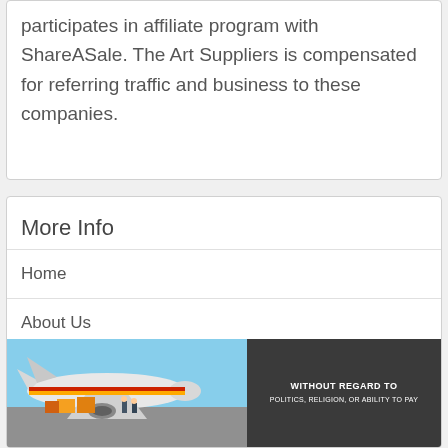participates in affiliate program with ShareASale. The Art Suppliers is compensated for referring traffic and business to these companies.
More Info
Home
About Us
Contact Us
[Figure (photo): Advertisement banner with an airplane being loaded with cargo on the left, and a dark banner reading WITHOUT REGARD TO on the right.]